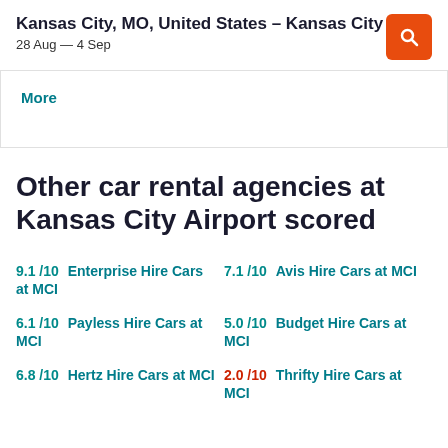Kansas City, MO, United States - Kansas City
28 Aug — 4 Sep
More
Other car rental agencies at Kansas City Airport scored
9.1 /10  Enterprise Hire Cars at MCI
7.1 /10  Avis Hire Cars at MCI
6.1 /10  Payless Hire Cars at MCI
5.0 /10  Budget Hire Cars at MCI
6.8 /10  Hertz Hire Cars at MCI
2.0 /10  Thrifty Hire Cars at MCI